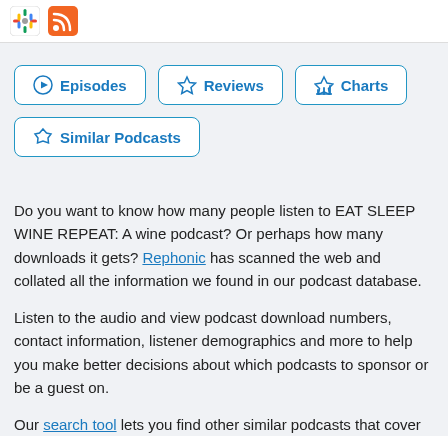[Figure (logo): Google Podcasts icon and RSS feed icon in the top bar]
Episodes
Reviews
Charts
Similar Podcasts
Do you want to know how many people listen to EAT SLEEP WINE REPEAT: A wine podcast? Or perhaps how many downloads it gets? Rephonic has scanned the web and collated all the information we found in our podcast database.
Listen to the audio and view podcast download numbers, contact information, listener demographics and more to help you make better decisions about which podcasts to sponsor or be a guest on.
Our search tool lets you find other similar podcasts that cover